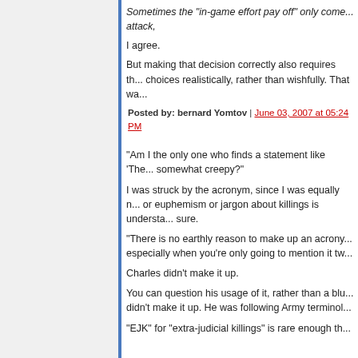Sometimes the "in-game effort pay off" only come... attack,
I agree.
But making that decision correctly also requires th... choices realistically, rather than wishfully. That wa...
Posted by: bernard Yomtov | June 03, 2007 at 05:24 PM
"Am I the only one who finds a statement like 'The... somewhat creepy?"
I was struck by the acronym, since I was equally n... or euphemism or jargon about killings is understa... sure.
"There is no earthly reason to make up an acrony... especially when you're only going to mention it tw...
Charles didn't make it up.
You can question his usage of it, rather than a blu... didn't make it up. He was following Army terminol...
"EJK" for "extra-judicial killings" is rare enough th...